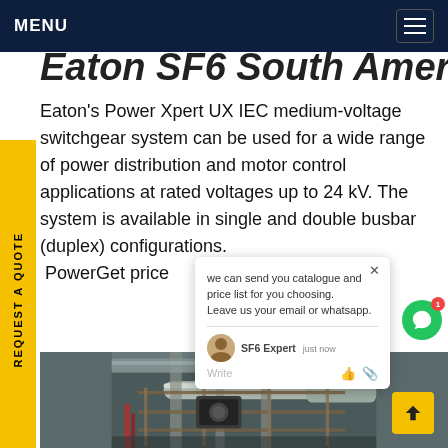MENU
Eaton SF6 South America
Eaton's Power Xpert UX IEC medium-voltage switchgear system can be used for a wide range of power distribution and motor control applications at rated voltages up to 24 kV. The system is available in single and double busbar (duplex) configurations. PowerGet price
[Figure (screenshot): Chat popup widget overlay showing message: 'we can send you catalogue and price list for you choosing. Leave us your email or whatsapp.' with SF6 Expert agent shown as 'just now', Write input field with like and attachment icons.]
[Figure (photo): Industrial facility interior showing large metal pipes, conduits, scaffolding, and industrial equipment in a power plant or switchgear installation setting.]